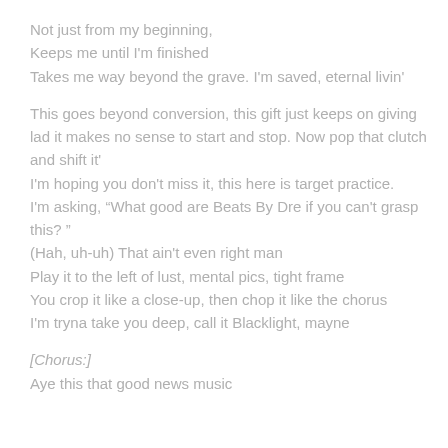Not just from my beginning,
Keeps me until I'm finished
Takes me way beyond the grave. I'm saved, eternal livin'
This goes beyond conversion, this gift just keeps on giving
lad it makes no sense to start and stop. Now pop that clutch and shift it'
I'm hoping you don't miss it, this here is target practice.
I'm asking, “What good are Beats By Dre if you can't grasp this? ”
(Hah, uh-uh) That ain't even right man
Play it to the left of lust, mental pics, tight frame
You crop it like a close-up, then chop it like the chorus
I'm tryna take you deep, call it Blacklight, mayne
[Chorus:]
Aye this that good news music